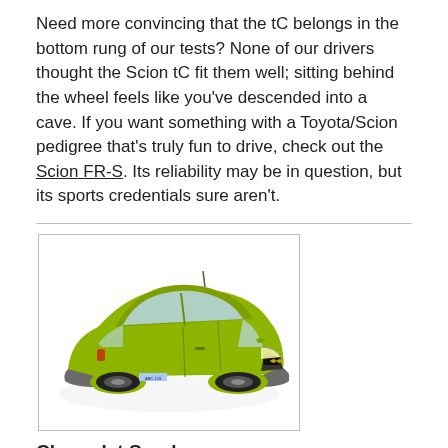Need more convincing that the tC belongs in the bottom rung of our tests? None of our drivers thought the Scion tC fit them well; sitting behind the wheel feels like you've descended into a cave. If you want something with a Toyota/Scion pedigree that's truly fun to drive, check out the Scion FR-S. Its reliability may be in question, but its sports credentials sure aren't.
[Figure (photo): Green Chevrolet Spark subcompact hatchback car, front three-quarter view, shown inside a bordered image box.]
Chevrolet Spark
Base MSRP price range: $12,270-$27,210